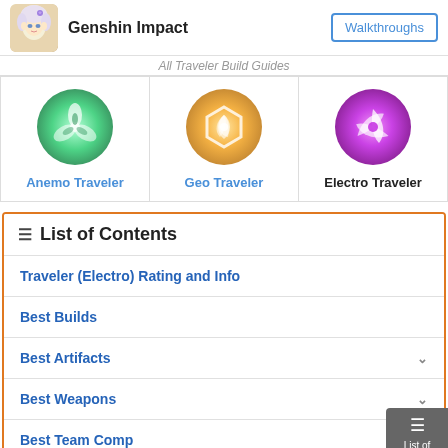Genshin Impact | Walkthroughs
All Traveler Build Guides
| Anemo Traveler | Geo Traveler | Electro Traveler |
| --- | --- | --- |
| [icon] | [icon] | [icon] |
List of Contents
Traveler (Electro) Rating and Info
Best Builds
Best Artifacts
Best Weapons
Best Team Comp
Best Constellations